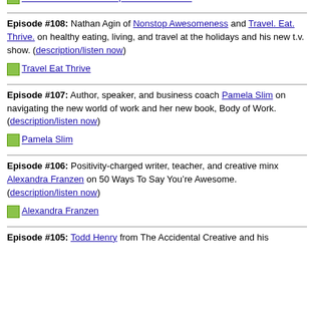Antarctica. (description/listen now)
[Figure (other): Thumbnail image link: Heather Thorkelson- Republic of Freedom]
Episode #108: Nathan Agin of Nonstop Awesomeness and Travel. Eat. Thrive. on healthy eating, living, and travel at the holidays and his new t.v. show. (description/listen now)
[Figure (other): Thumbnail image link: Travel Eat Thrive]
Episode #107: Author, speaker, and business coach Pamela Slim on navigating the new world of work and her new book, Body of Work. (description/listen now)
[Figure (other): Thumbnail image link: Pamela Slim]
Episode #106: Positivity-charged writer, teacher, and creative minx Alexandra Franzen on 50 Ways To Say You’re Awesome. (description/listen now)
[Figure (other): Thumbnail image link: Alexandra Franzen]
Episode #105: Todd Henry from The Accidental Creative and his...